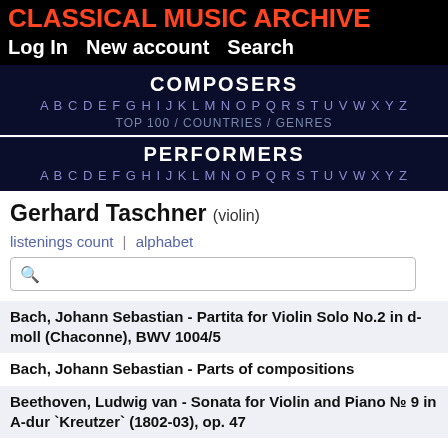CLASSICAL MUSIC ARCHIVE
Log In   New account   Search
COMPOSERS
A B C D E F G H I J K L M N O P Q R S T U V W X Y Z
TOP 100 / COUNTRIES / GENRES
PERFORMERS
A B C D E F G H I J K L M N O P Q R S T U V W X Y Z
Gerhard Taschner (violin)
listenings count | alphabet
Bach, Johann Sebastian - Partita for Violin Solo No.2 in d-moll (Chaconne), BWV 1004/5
Bach, Johann Sebastian - Parts of compositions
Beethoven, Ludwig van - Sonata for Violin and Piano № 9 in A-dur `Kreutzer` (1802-03), op. 47
Brahms, Johannes - Piano Trio No.3 in c-moll (1886), Op.101
Brahms, Johannes - Violin Sonata No.1 in G-dur (1878-79), Op. 78
Bruch, Max - Concerto for Violin and Orchestra No.1 in g-moll, op.